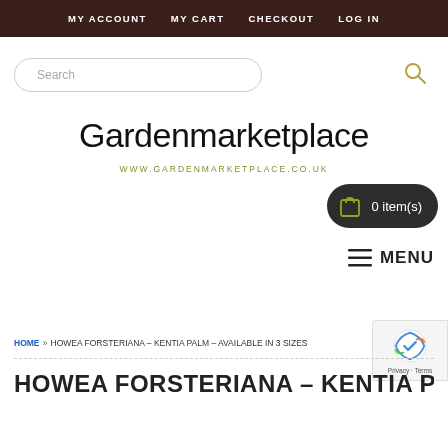MY ACCOUNT   MY CART   CHECKOUT   LOG IN
[Figure (screenshot): Search input field with rounded border and search icon on the right]
Gardenmarketplace
WWW.GARDENMARKETPLACE.CO.UK
[Figure (infographic): Dark rounded cart button showing 0 item(s) with a shopping bag icon]
≡ MENU
HOME » HOWEA FORSTERIANA – KENTIA PALM – AVAILABLE IN 3 SIZES
HOWEA FORSTERIANA – KENTIA PALM –